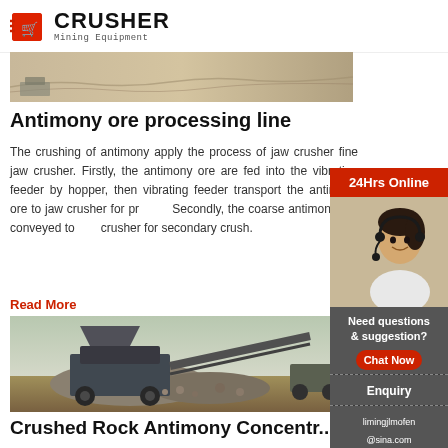[Figure (logo): Crusher Mining Equipment logo with red shopping bag icon and bold CRUSHER text]
[Figure (photo): Top cropped image of antimony ore processing site]
Antimony ore processing line
The crushing of antimony apply the process of jaw crusher fine jaw crusher. Firstly, the antimony ore are fed into the vibrating feeder by hopper, then vibrating feeder transport the antimony ore to jaw crusher for primary crushing. Secondly, the coarse antimony are conveyed to crusher for secondary crush.
Read More
[Figure (photo): Large mobile crusher machine with conveyor belt at gravel site]
Crushed Rock Antimony Concentr... Refineries Crusher ...
[Figure (infographic): Sidebar with 24Hrs Online banner, customer service representative photo, Need questions & suggestion? text, Chat Now button, Enquiry section, and limingjlmofen@sina.com email]